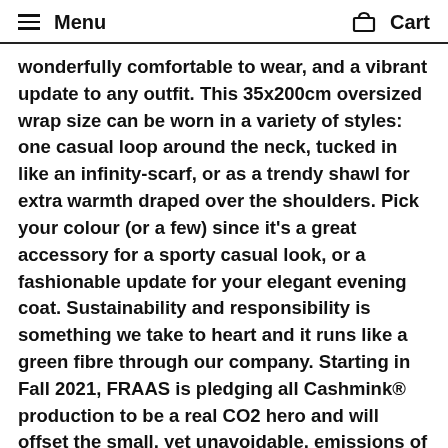Menu   Cart
wonderfully comfortable to wear, and a vibrant update to any outfit. This 35x200cm oversized wrap size can be worn in a variety of styles: one casual loop around the neck, tucked in like an infinity-scarf, or as a trendy shawl for extra warmth draped over the shoulders. Pick your colour (or a few) since it's a great accessory for a sporty casual look, or a fashionable update for your elegant evening coat. Sustainability and responsibility is something we take to heart and it runs like a green fibre through our company. Starting in Fall 2021, FRAAS is pledging all Cashmink® production to be a real CO2 hero and will offset the small, yet unavoidable, emissions of all Cashmink® accessories through an international climate protection project. All Cashmink® accessories are already certified according to Öko-Tex Standard 100, hypo-allergenic, water repellent and sustainably produced according to the highest quality standards in our own German factory. The acrylic fibers used here are 20% finer than cashmere, with